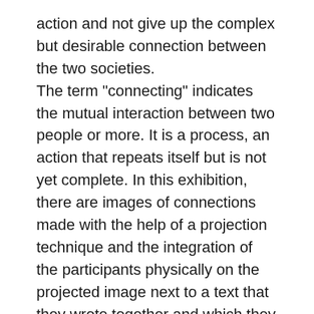action and not give up the complex but desirable connection between the two societies. The term "connecting" indicates the mutual interaction between two people or more. It is a process, an action that repeats itself but is not yet complete. In this exhibition, there are images of connections made with the help of a projection technique and the integration of the participants physically on the projected image next to a text that they wrote together and which they chose to present. The medium of photography has, from its early days, explored reality and how new statements about reality can be expressed by connecting images, from photomontage (assembling several different photographs into one, often creating the impression that the resulting image is a realistic